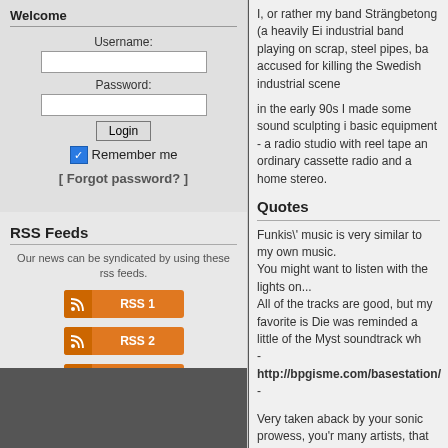Welcome
Username:
Password:
Login
Remember me
[ Forgot password? ]
RSS Feeds
Our news can be syndicated by using these rss feeds.
RSS 1
RSS 2
RDF
I, or rather my band Strängbetong (a heavily Ei industrial band playing on scrap, steel pipes, ba accused for killing the Swedish industrial scene
in the early 90s I made some sound sculpting i basic equipment - a radio studio with reel tape an ordinary cassette radio and a home stereo.
Quotes
Funkis\' music is very similar to my own music. You might want to listen with the lights on... All of the tracks are good, but my favorite is Die was reminded a little of the Myst soundtrack wh - http://bpgisme.com/basestation/ -
Very taken aback by your sonic prowess, you'r many artists, that use the repetitious static, slo it ambient/industrial/whateverblablageayj but yo genre, Chainsnap really gave me a sonic joyga your work is quite evolving, and rather invocativ basically i wanted to say:
Great Work!
- Brandon Dai Cahal
[A Field of Black Orchids]
Your sound placement alone is something to co The music places you where you need to be Remember we all listen
- Disturbed Earth
Nice Textures Brother, Quality
- Project Horsed